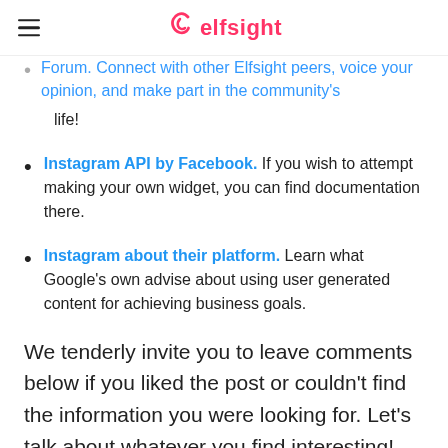elfsight
Forum. Connect with other Elfsight peers, voice your opinion, and make part in the community's life!
Instagram API by Facebook. If you wish to attempt making your own widget, you can find documentation there.
Instagram about their platform. Learn what Google's own advise about using user generated content for achieving business goals.
We tenderly invite you to leave comments below if you liked the post or couldn't find the information you were looking for. Let's talk about whatever you find interesting!